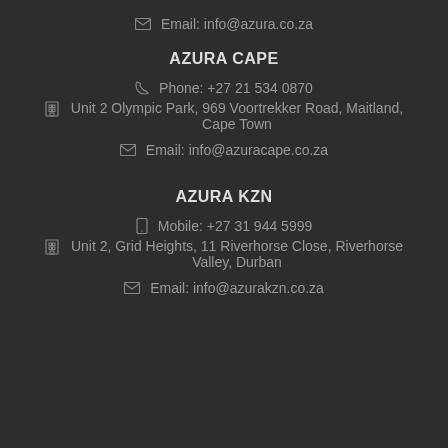Email: info@azura.co.za
AZURA CAPE
Phone: +27 21 534 0870
Unit 2 Olympic Park, 969 Voortrekker Road, Maitland, Cape Town
Email: info@azuracape.co.za
AZURA KZN
Mobile: +27 31 944 5999
Unit 2, Grid Heights, 11 Riverhorse Close, Riverhorse Valley, Durban
Email: info@azurakzn.co.za